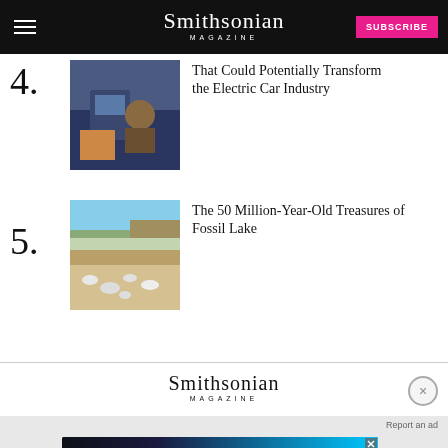Smithsonian Magazine | SUBSCRIBE
4. That Could Potentially Transform the Electric Car Industry
[Figure (photo): Photo thumbnail for item 4 - person working with electronics]
5. The 50 Million-Year-Old Treasures of Fossil Lake
[Figure (photo): Photo thumbnail for item 5 - fossil lake landscape with white stones]
[Figure (logo): Smithsonian Magazine logo in footer area]
Report an ad
[Figure (screenshot): Disney Bundle advertisement banner with Hulu, Disney+, ESPN+ logos and GET THE DISNEY BUNDLE CTA]
EXPLORE
Smart News
Subscribe